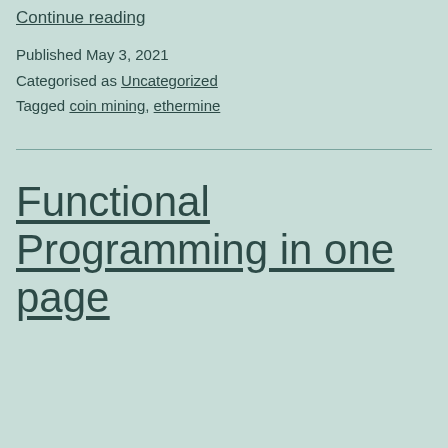Continue reading
Published May 3, 2021
Categorised as Uncategorized
Tagged coin mining, ethermine
Functional Programming in one page